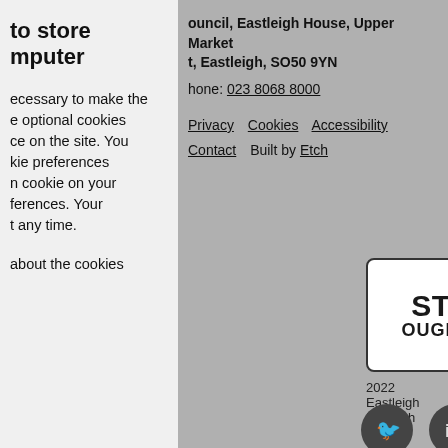to store
mputer
ecessary to make the
e optional cookies
ce on the site. You
kie preferences
n cookie on your
ferences. Your
t any time.
about the cookies
ouncil, Eastleigh House, Upper Market
t, Eastleigh, SO50 9YN
hone: 023 8068 8000
Privacy   Cookies   Accessibility
Contact   Built by Etch
[Figure (logo): Eastleigh Borough Council logo - white box with dark border showing 'STLEIGH BOROUGH COUNCIL' text in bold]
2022 Eastleigh Borough Council
[Figure (illustration): Social media icons for Twitter, LinkedIn, and YouTube]
d settings